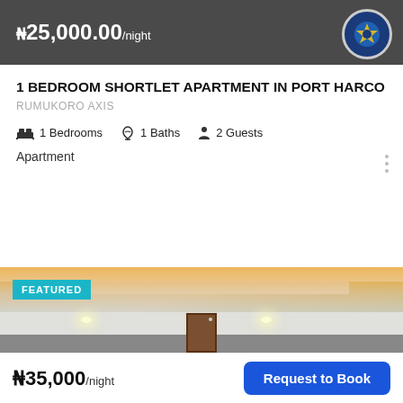[Figure (screenshot): Top banner showing price ₦25,000.00/night on dark background with circular logo top right]
1 BEDROOM SHORTLET APARTMENT IN PORT HARCO
RUMUKORO AXIS
1 Bedrooms  1 Baths  2 Guests
Apartment
[Figure (photo): Interior photo of an apartment room with amber LED ceiling lighting, recessed lights, and wood-paneled wall on right side. FEATURED badge in teal top left.]
₦35,000/night
Request to Book